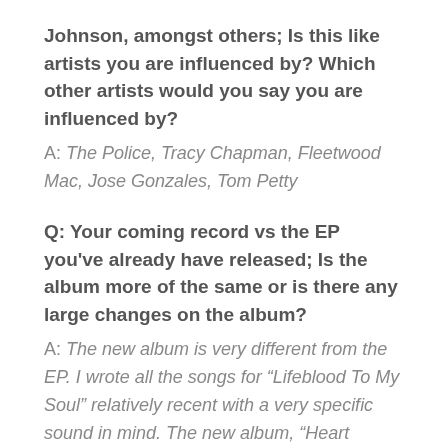Johnson, amongst others; Is this like artists you are influenced by? Which other artists would you say you are influenced by?
A: The Police, Tracy Chapman, Fleetwood Mac, Jose Gonzales, Tom Petty
Q: Your coming record vs the EP you've already have released; Is the album more of the same or is there any large changes on the album?
A: The new album is very different from the EP. I wrote all the songs for “Lifeblood To My Soul” relatively recent with a very specific sound in mind. The new album, “Heart Knows How” is much different. It’s basically an accumulation of songs